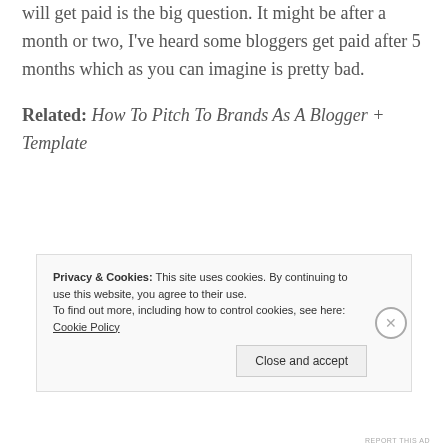will get paid is the big question. It might be after a month or two, I've heard some bloggers get paid after 5 months which as you can imagine is pretty bad.
Related: How To Pitch To Brands As A Blogger + Template
Privacy & Cookies: This site uses cookies. By continuing to use this website, you agree to their use. To find out more, including how to control cookies, see here: Cookie Policy
Close and accept
REPORT THIS AD